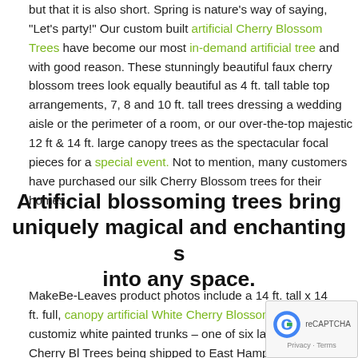but that it is also short. Spring is nature's way of saying, "Let's party!" Our custom built artificial Cherry Blossom Trees have become our most in-demand artificial tree and with good reason. These stunningly beautiful faux cherry blossom trees look equally beautiful as 4 ft. tall table top arrangements, 7, 8 and 10 ft. tall trees dressing a wedding aisle or the perimeter of a room, or our over-the-top majestic 12 ft & 14 ft. large canopy trees as the spectacular focal pieces for a special event. Not to mention, many customers have purchased our silk Cherry Blossom trees for their homes.
Artificial blossoming trees bring uniquely magical and enchanting s into any space.
MakeBe-Leaves product photos include a 14 ft. tall x 14 ft. full, canopy artificial White Cherry Blossom Tree, customiz white painted trunks – one of six large scale Cherry Bl Trees being shipped to East Hampton, NY for an upcoming